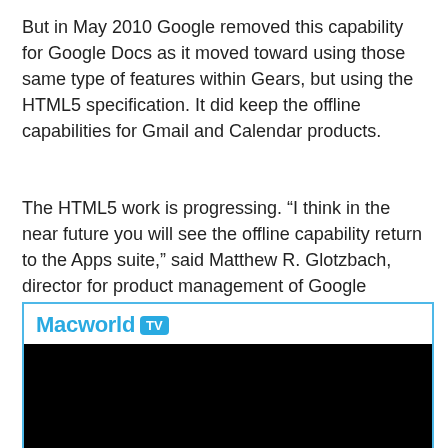But in May 2010 Google removed this capability for Google Docs as it moved toward using those same type of features within Gears, but using the HTML5 specification. It did keep the offline capabilities for Gmail and Calendar products.
The HTML5 work is progressing. “I think in the near future you will see the offline capability return to the Apps suite,” said Matthew R. Glotzbach, director for product management of Google Enterprise, during a press briefing at the company’s London office.
[Figure (screenshot): Macworld TV video player embed with blue border, Macworld TV logo header, and black video area with play button arrow at bottom center]